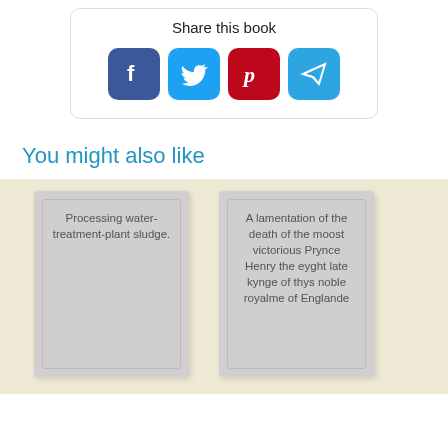Share this book
[Figure (infographic): Social sharing icons: Facebook (blue), Twitter (teal), Pinterest (red), Telegram (blue)]
You might also like
Processing water-treatment-plant sludge.
A lamentation of the death of the moost victorious Prynce Henry the eyght late kynge of thys noble royalme of Englande